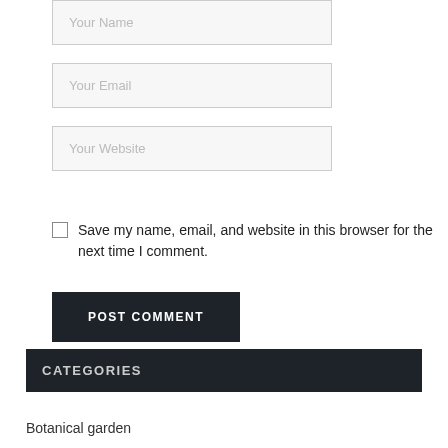Your Name
Your Email
Your Website
Save my name, email, and website in this browser for the next time I comment.
POST COMMENT
CATEGORIES
Botanical garden